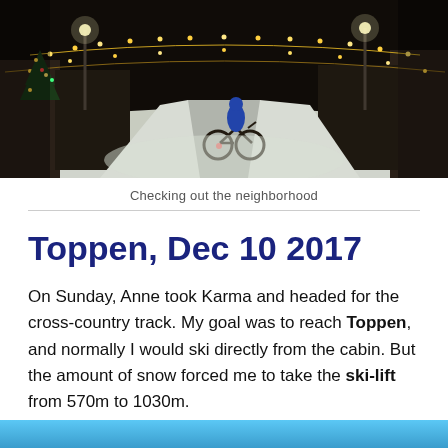[Figure (photo): Night photo of a snowy village street with Christmas lights strung overhead and on trees, a person on a bicycle riding through snow, buildings on either side, dark sky.]
Checking out the neighborhood
Toppen, Dec 10 2017
On Sunday, Anne took Karma and headed for the cross-country track. My goal was to reach Toppen, and normally I would ski directly from the cabin. But the amount of snow forced me to take the ski-lift from 570m to 1030m.
[Figure (photo): Bottom portion of a blue sky photo, partially cropped at page bottom.]